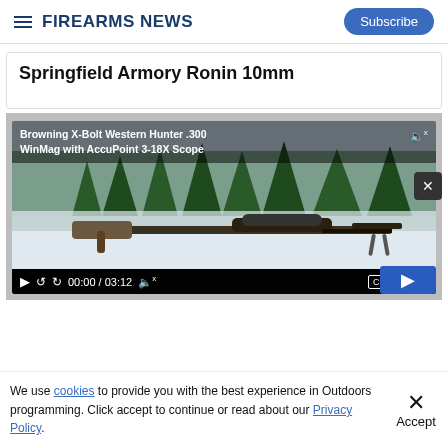FIREARMS NEWS — Subscribe
Springfield Armory Ronin 10mm
[Figure (screenshot): Video player showing Browning X-Bolt Western Hunter .300 WinMag with AccuPoint 3-18X Scope. A rifle lies in snow with trees in background. Video controls show 00:00 / 03:12.]
We use cookies to provide you with the best experience in Outdoors programming. Click accept to continue or read about our Privacy Policy.